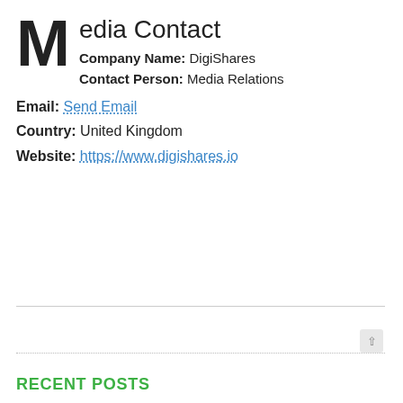Media Contact
Company Name: DigiShares
Contact Person: Media Relations
Email: Send Email
Country: United Kingdom
Website: https://www.digishares.io
RECENT POSTS